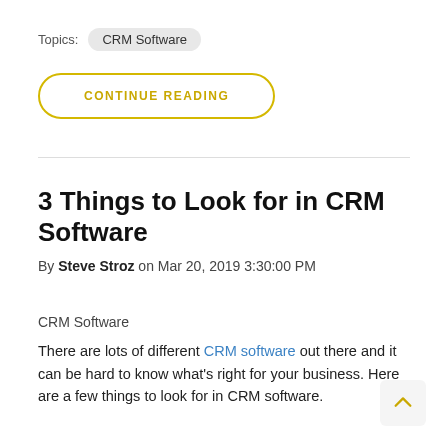Topics: CRM Software
CONTINUE READING
3 Things to Look for in CRM Software
By Steve Stroz on Mar 20, 2019 3:30:00 PM
CRM Software
There are lots of different CRM software out there and it can be hard to know what's right for your business. Here are a few things to look for in CRM software.